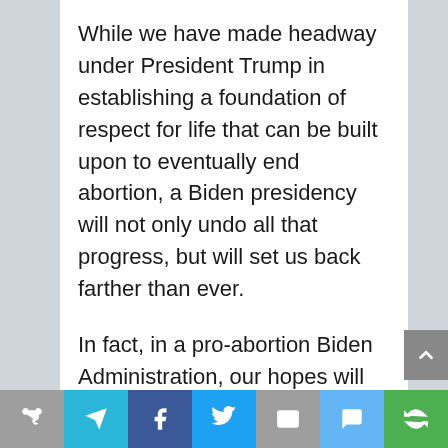While we have made headway under President Trump in establishing a foundation of respect for life that can be built upon to eventually end abortion, a Biden presidency will not only undo all that progress, but will set us back farther than ever.
In fact, in a pro-abortion Biden Administration, our hopes will be dashed of ending abortion in this